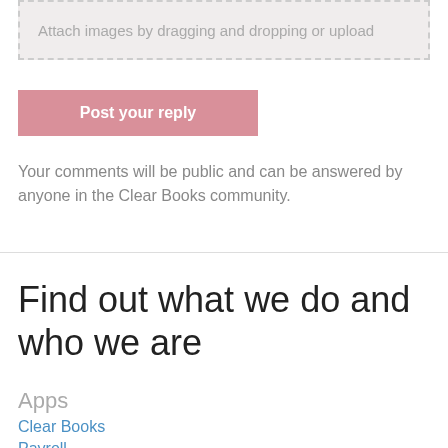Attach images by dragging and dropping or upload
Post your reply
Your comments will be public and can be answered by anyone in the Clear Books community.
Find out what we do and who we are
Apps
Clear Books
Payroll